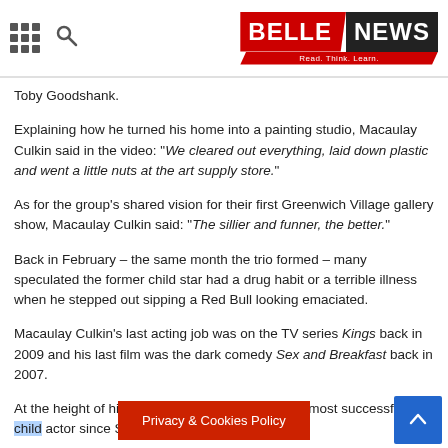BELLE NEWS — Read. Think. Learn.
Toby Goodshank.
Explaining how he turned his home into a painting studio, Macaulay Culkin said in the video: "We cleared out everything, laid down plastic and went a little nuts at the art supply store."
As for the group's shared vision for their first Greenwich Village gallery show, Macaulay Culkin said: "The sillier and funner, the better."
Back in February – the same month the trio formed – many speculated the former child star had a drug habit or a terrible illness when he stepped out sipping a Red Bull looking emaciated.
Macaulay Culkin's last acting job was on the TV series Kings back in 2009 and his last film was the dark comedy Sex and Breakfast back in 2007.
At the height of his fame he was regarded as the most successful child actor since Shirley Temple.
Privacy & Cookies Policy